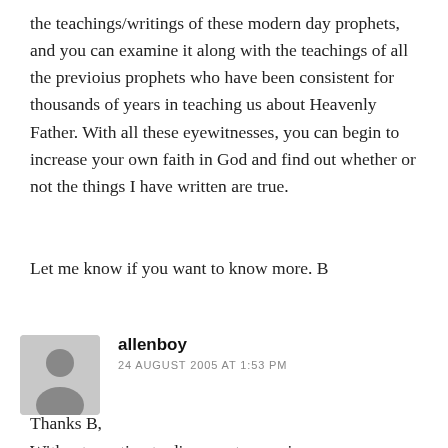the teachings/writings of these modern day prophets, and you can examine it along with the teachings of all the previoius prophets who have been consistent for thousands of years in teaching us about Heavenly Father. With all these eyewitnesses, you can begin to increase your own faith in God and find out whether or not the things I have written are true.
Let me know if you want to know more. B
allenboy
24 AUGUST 2005 AT 1:53 PM
Thanks B,
Without wanting to disrespect your sincere